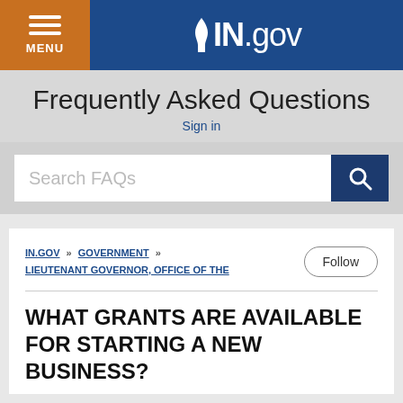MENU | IN.gov
Frequently Asked Questions
Sign in
Search FAQs
IN.GOV » GOVERNMENT » LIEUTENANT GOVERNOR, OFFICE OF THE
WHAT GRANTS ARE AVAILABLE FOR STARTING A NEW BUSINESS?